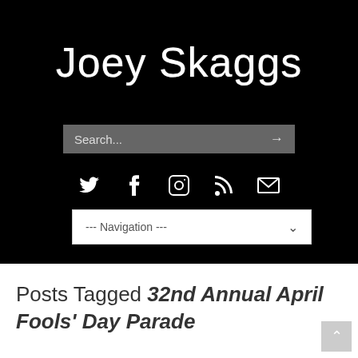Joey Skaggs
[Figure (screenshot): Search bar with placeholder text 'Search...' and right arrow on dark background]
[Figure (screenshot): Social media icons: Twitter bird, Facebook f, Instagram camera, RSS feed, Email envelope]
[Figure (screenshot): Navigation dropdown bar with text '--- Navigation ---' and chevron arrow]
Posts Tagged 32nd Annual April Fools' Day Parade